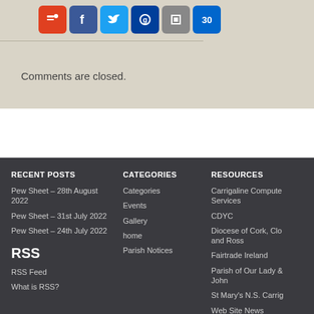[Figure (other): Row of social media icon buttons: red bookmark, dark blue Facebook, light blue Twitter, navy circle icon, gray/black icon, blue icon]
Comments are closed.
RECENT POSTS
Pew Sheet – 28th August 2022
Pew Sheet – 31st July 2022
Pew Sheet – 24th July 2022
RSS
RSS Feed
What is RSS?
CATEGORIES
Categories
Events
Gallery
home
Parish Notices
RESOURCES
Carrigaline Computer Services
CDYC
Diocese of Cork, Clo and Ross
Fairtrade Ireland
Parish of Our Lady & John
St Mary's N.S. Carrig
Web Site News